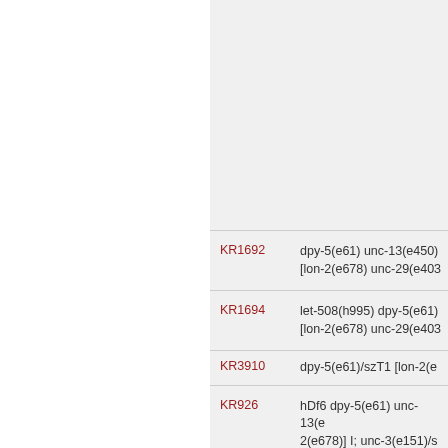| ID | Genotype |
| --- | --- |
| KR1692 | dpy-5(e61) unc-13(e450) [lon-2(e678) unc-29(e403... |
| KR1694 | let-508(h995) dpy-5(e61) [lon-2(e678) unc-29(e403... |
| KR3910 | dpy-5(e61)/szT1 [lon-2(e... |
| KR926 | hDf6 dpy-5(e61) unc-13(e... 2(e678)] I; unc-3(e151)/s... |